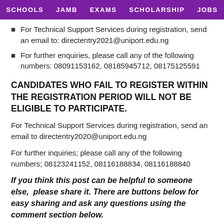SCHOOLS   JAMB   EXAMS   SCHOLARSHIP   JOBS
For Technical Support Services during registration, send an email to: directentry2021@uniport.edu.ng
For further enquiries, please call any of the following numbers: 08091153162, 08185945712, 08175125591
CANDIDATES WHO FAIL TO REGISTER WITHIN THE REGISTRATION PERIOD WILL NOT BE ELIGIBLE TO PARTICIPATE.
For Technical Support Services during registration, send an email to directentry2020@uniport.edu.ng
For further inquiries; please call any of the following numbers; 08123241152, 08116188834, 08116188840
If you think this post can be helpful to someone else,  please share it. There are buttons below for easy sharing and ask any questions using the comment section below.